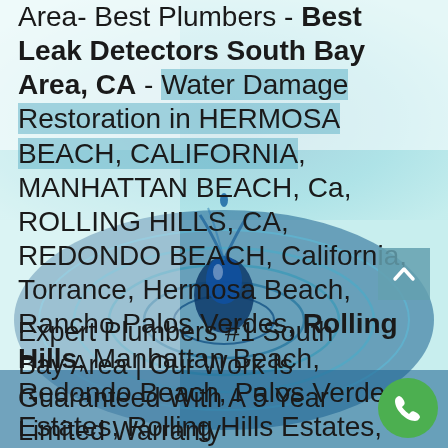Area- Best Plumbers - Best Leak Detectors South Bay Area, CA - Water Damage Restoration in HERMOSA BEACH, CALIFORNIA, MANHATTAN BEACH, Ca, ROLLING HILLS, CA, REDONDO BEACH, California, Torrance, Hermosa Beach, Rancho Palos Verdes, Rolling Hills, Manhattan Beach, Redondo Beach, Palos Verdes Estates, Rolling Hills Estates, Torrance, Lomita Ca
[Figure (photo): Blue water drop splash with circular ripples, creating concentric rings on a water surface. Background is teal/cyan gradient.]
Expert Plumbers #1 South Bay Area | Our Work Is Guaranteed With A 5 Year Limited Warranty